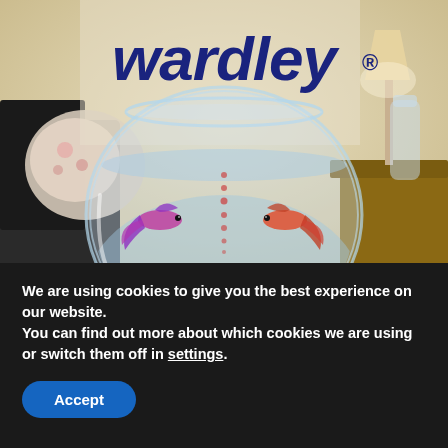[Figure (photo): Wardley brand advertisement showing a round glass fishbowl with two betta fish facing each other, separated by dotted bubbles in the middle, placed in a living room setting. The Wardley logo (blue bold serif-italic font) with registered trademark symbol appears at the top of the image.]
We are using cookies to give you the best experience on our website.
You can find out more about which cookies we are using or switch them off in settings.
Accept